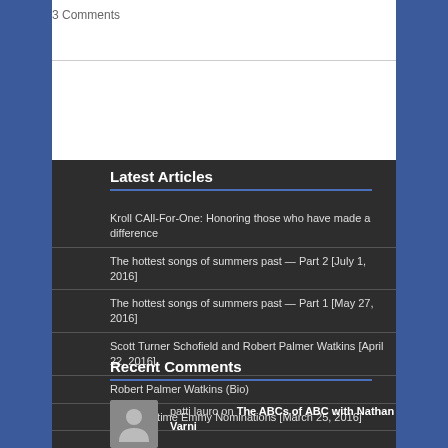3 Comments
Latest Articles
Kroll CAll-For-One: Honoring those who have made a difference
The hottest songs of summers past — Part 2 [July 1, 2016]
The hottest songs of summers past — Part 1 [May 27, 2016]
Scott Turner Schofield and Robert Palmer Watkins [April 22, 2016]
Robert Palmer Watkins (Bio)
2016 Daytime Emmy Nominations [March 25, 2016]
Recent Comments
patti lauro on The ABCs of ABC with Nathan Varni